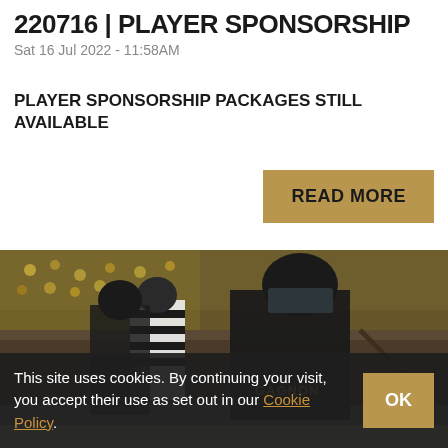220716 | PLAYER SPONSORSHIP
Sat 16 Jul 2022 - 11:58AM
PLAYER SPONSORSHIP PACKAGES STILL AVAILABLE
READ MORE
[Figure (photo): Ice hockey players in dark jerseys with a referee in striped shirt, crowd visible in background. Player with GAGNON jersey visible.]
This site uses cookies. By continuing your visit, you accept their use as set out in our Cookie Policy.
OK